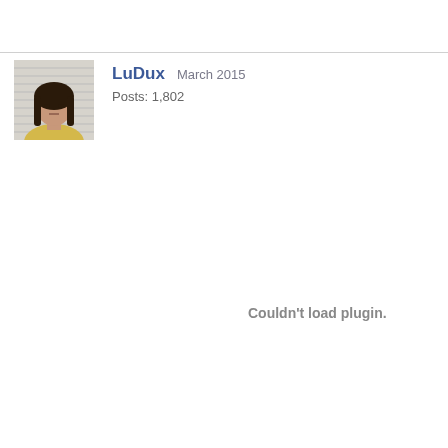[Figure (photo): Forum post avatar: mugshot-style photo of a young woman with long dark hair, against a striped background]
LuDux   March 2015
Posts: 1,802
Couldn't load plugin.